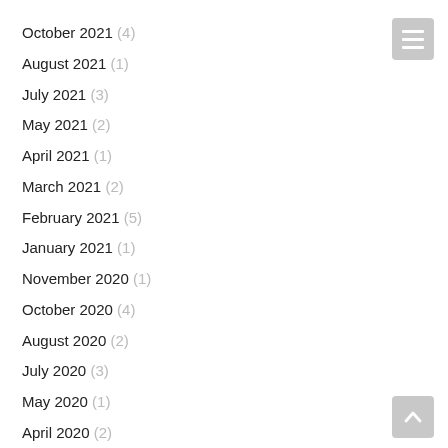October 2021 (4)
August 2021 (1)
July 2021 (3)
May 2021 (2)
April 2021 (1)
March 2021 (2)
February 2021 (5)
January 2021 (1)
November 2020 (1)
October 2020 (4)
August 2020 (2)
July 2020 (3)
May 2020 (1)
April 2020 (2)
February 2020 (3)
January 2020 (2)